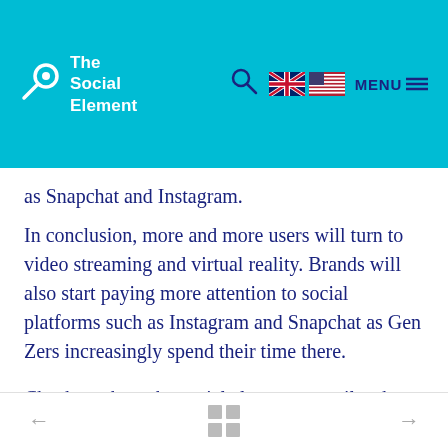The Social Element — navigation header with logo, search, flags, and menu
as Snapchat and Instagram.
In conclusion, more and more users will turn to video streaming and virtual reality. Brands will also start paying more attention to social platforms such as Instagram and Snapchat as Gen Zers increasingly spend their time there.
Check out how the social element compiles these social insights to bring them to you.
← grid navigation →